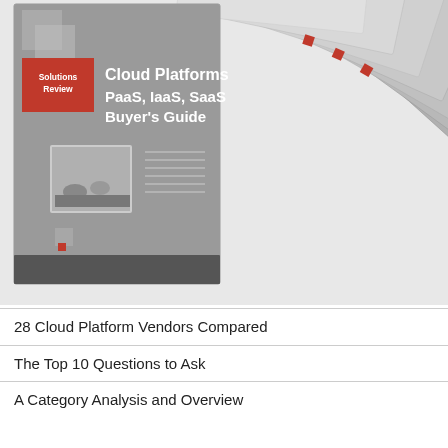[Figure (illustration): A fanned-out stack of printed booklets titled 'Cloud Platforms PaaS, IaaS, SaaS Buyer's Guide' published by Solutions Review. The front cover is visible with a gray background, red Solutions Review logo badge, bold white title text, and a small interior photo of office workers. Multiple copies fan out to the right in a cascading arrangement.]
28 Cloud Platform Vendors Compared
The Top 10 Questions to Ask
A Category Analysis and Overview